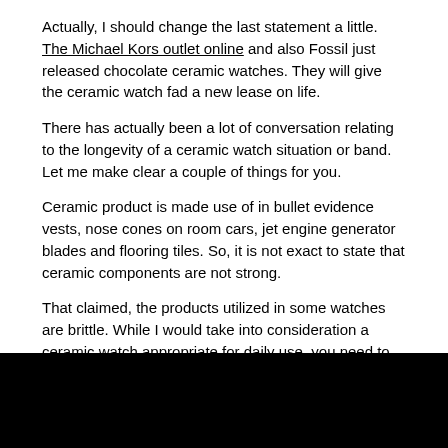Actually, I should change the last statement a little. The Michael Kors outlet online and also Fossil just released chocolate ceramic watches. They will give the ceramic watch fad a new lease on life.
There has actually been a lot of conversation relating to the longevity of a ceramic watch situation or band. Let me make clear a couple of things for you.
Ceramic product is made use of in bullet evidence vests, nose cones on room cars, jet engine generator blades and flooring tiles. So, it is not exact to state that ceramic components are not strong.
That claimed, the products utilized in some watches are brittle. While I would take into consideration a ceramic watch appropriate for daily use, you need to work out a specific amount of care
The watch arm band can split if you shatter your hand against a hard material. I am much less concerned over the case as it is extra durable and also much less likely to be damaged.
[Figure (photo): A dark/black image at the bottom of the page, likely a photo related to watches.]